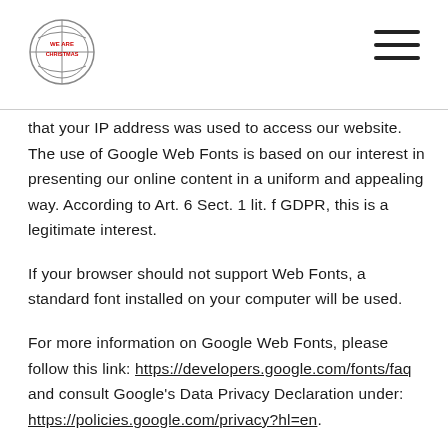We Are Christmas logo and navigation
that your IP address was used to access our website. The use of Google Web Fonts is based on our interest in presenting our online content in a uniform and appealing way. According to Art. 6 Sect. 1 lit. f GDPR, this is a legitimate interest.
If your browser should not support Web Fonts, a standard font installed on your computer will be used.
For more information on Google Web Fonts, please follow this link: https://developers.google.com/fonts/faq and consult Google's Data Privacy Declaration under: https://policies.google.com/privacy?hl=en.
GOOGLE MAPS